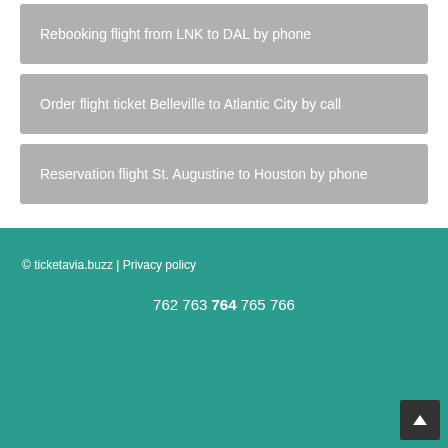Rebooking flight from LNK to DAL by phone
Order flight ticket Belleville to Atlantic City by call
Reservation flight St. Augustine to Houston by phone
© ticketavia.buzz | Privacy policy
762 763 764 765 766